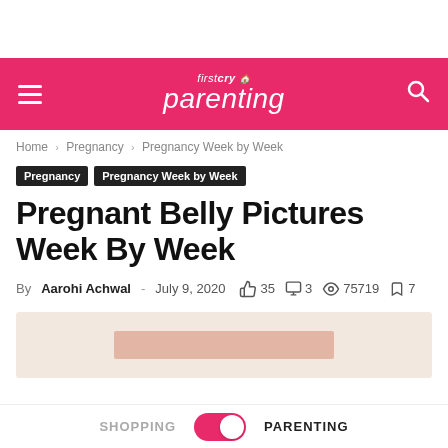firstcry Parenting
Home › Pregnancy › Pregnancy Week by Week
Pregnancy  Pregnancy Week by Week
Pregnant Belly Pictures Week By Week
By Aarohi Achwal - July 9, 2020  35  3  75719  7
[Figure (photo): Partial image placeholder with peach/salmon background at bottom of page]
SHOPPING  PARENTING